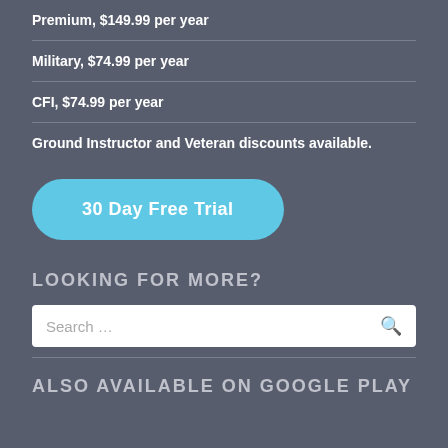Premium, $149.99 per year
Military, $74.99 per year
CFI, $74.99 per year
Ground Instructor and Veteran discounts available.
30 Day Free Trial
LOOKING FOR MORE?
Search …
ALSO AVAILABLE ON GOOGLE PLAY